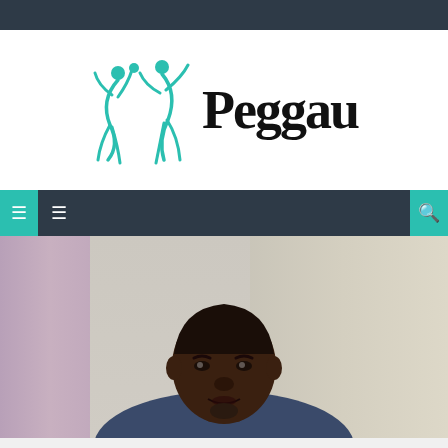[Figure (logo): Peggau logo with teal dancing figures icon and 'Peggau' text in bold serif font]
Navigation bar with menu icons
[Figure (photo): Photo of a Black man with short hair and a goatee, wearing a navy blue shirt, appearing to be speaking or presenting, with purple and beige curtains in the background]
Navigation arrows